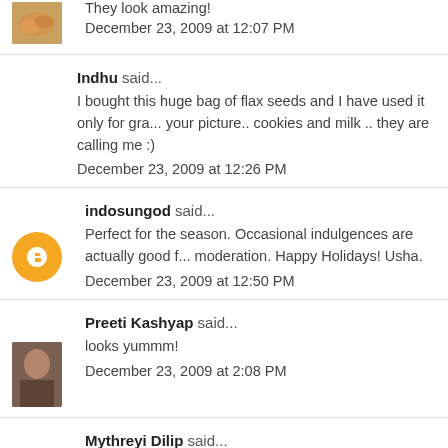They look amazing!
December 23, 2009 at 12:07 PM
Indhu said...
I bought this huge bag of flax seeds and I have used it only for granola.. your picture.. cookies and milk .. they are calling me :)
December 23, 2009 at 12:26 PM
indosungod said...
Perfect for the season. Occasional indulgences are actually good for you in moderation. Happy Holidays! Usha.
December 23, 2009 at 12:50 PM
Preeti Kashyap said...
looks yummm!
December 23, 2009 at 2:08 PM
Mythreyi Dilip said...
Excellent cookies, love to have some! Merry Christmas and Happy Holidays dear:)